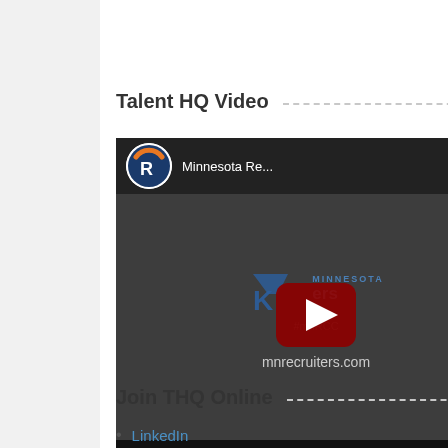Talent HQ Video
[Figure (screenshot): Embedded YouTube video thumbnail showing Minnesota Recruiters logo and mnrecruiters.com with a red play button overlay]
Join THQ Online
LinkedIn
Twitter